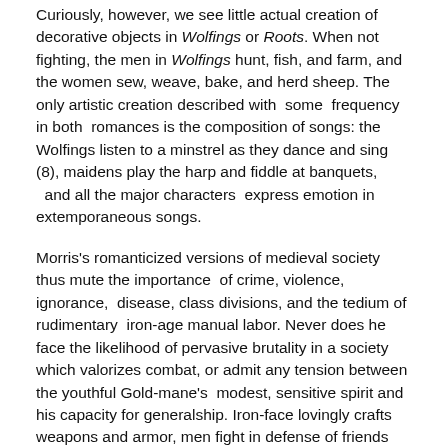Curiously, however, we see little actual creation of decorative objects in Wolfings or Roots. When not fighting, the men in Wolfings hunt, fish, and farm, and the women sew, weave, bake, and herd sheep. The only artistic creation described with some frequency in both romances is the composition of songs: the Wolfings listen to a minstrel as they dance and sing (8), maidens play the harp and fiddle at banquets, and all the major characters express emotion in extemporaneous songs.
Morris's romanticized versions of medieval society thus mute the importance of crime, violence, ignorance, disease, class divisions, and the tedium of rudimentary iron-age manual labor. Never does he face the likelihood of pervasive brutality in a society which valorizes combat, or admit any tension between the youthful Gold-mane's modest, sensitive spirit and his capacity for generalship. Iron-face lovingly crafts weapons and armor, men fight in defense of friends and kin, and noncombatants are spared. Such idealizations paradoxically inclined Morris to demand